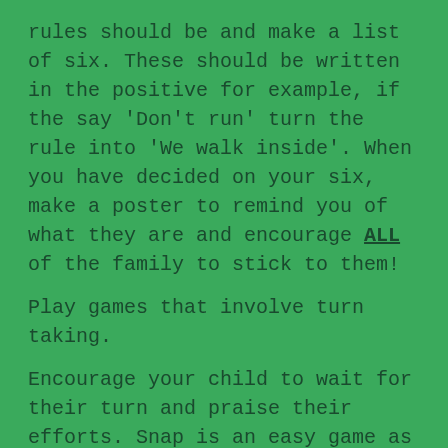rules should be and make a list of six. These should be written in the positive for example, if the say 'Don't run' turn the rule into 'We walk inside'. When you have decided on your six, make a poster to remind you of what they are and encourage ALL of the family to stick to them!
Play games that involve turn taking.
Encourage your child to wait for their turn and praise their efforts. Snap is an easy game as well as most board game types of games.
Encourage you child to help you around the house.
Sorting the washing into coloured piles then putting a pile in the washing machine.